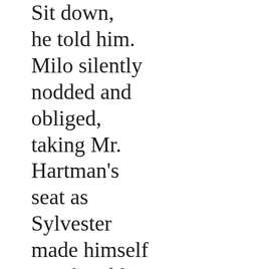Sit down, he told him. Milo silently nodded and obliged, taking Mr. Hartman's seat as Sylvester made himself comfortable. He couldn't help but feel the walls watch him, however.